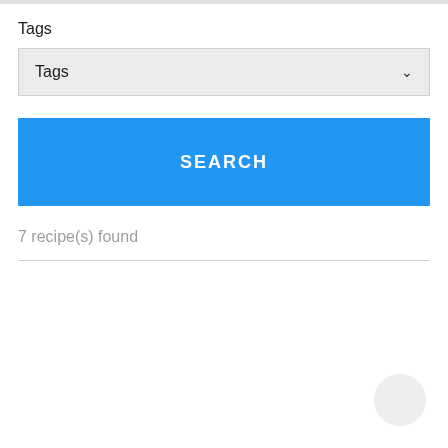Tags
[Figure (screenshot): Tags dropdown selector with chevron arrow]
[Figure (screenshot): SEARCH button in blue]
7 recipe(s) found